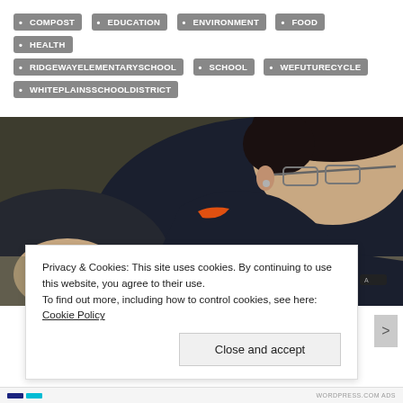COMPOST
EDUCATION
ENVIRONMENT
FOOD
HEALTH
RIDGEWAYELEMENTARYSCHOOL
SCHOOL
WEFUTURECYCLE
WHITEPLAINSSCHOOLDISTRICT
[Figure (photo): A child wearing glasses and a dark jacket leans over a table, using a pencil to examine soil or compost samples on a white paper plate.]
Privacy & Cookies: This site uses cookies. By continuing to use this website, you agree to their use.
To find out more, including how to control cookies, see here: Cookie Policy
Close and accept